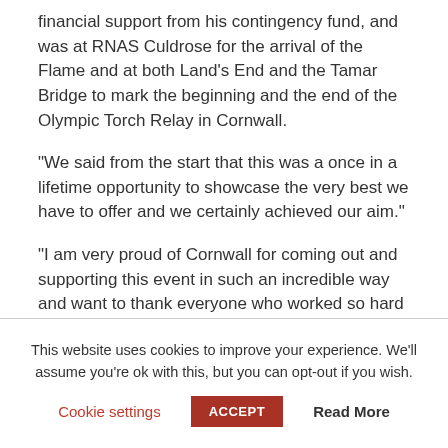financial support from his contingency fund, and was at RNAS Culdrose for the arrival of the Flame and at both Land's End and the Tamar Bridge to mark the beginning and the end of the Olympic Torch Relay in Cornwall.
“We said from the start that this was a once in a lifetime opportunity to showcase the very best we have to offer and we certainly achieved our aim.”
“I am very proud of Cornwall for coming out and supporting this event in such an incredible way and want to thank everyone who worked so hard to make this happen.”
This website uses cookies to improve your experience. We’ll assume you’re ok with this, but you can opt-out if you wish. Cookie settings | ACCEPT | Read More